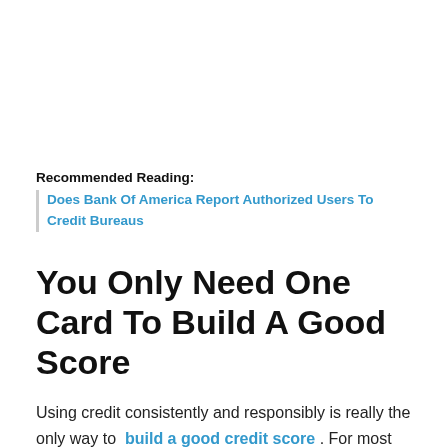Recommended Reading:
Does Bank Of America Report Authorized Users To Credit Bureaus
You Only Need One Card To Build A Good Score
Using credit consistently and responsibly is really the only way to build a good credit score . For most people, the easiest way to do this is to get a credit card, use it